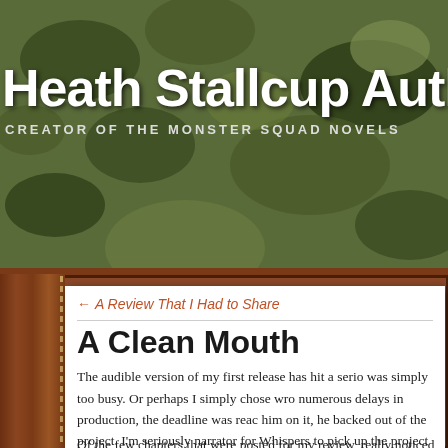Heath Stallcup Auth
CREATOR OF THE MONSTER SQUAD NOVELS
← A Review That I Had to Share
A Clean Mouth
The audible version of my first release has hit a serious snag. It was simply too busy. Or perhaps I simply chose wrong. After numerous delays in production, the deadline was reached. When I held him on it, he backed out of the project. I'm seriously looking for a narrator for Whispers to pick up the project as he is a professional producer...but that's another story.
Of the few chapters that were posted for my review, I really noticed before. It had been brought to my att